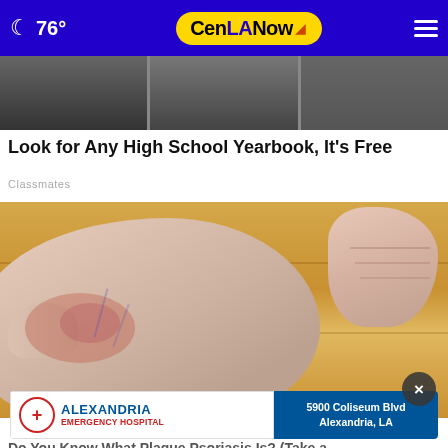76° CenLA Now
[Figure (photo): Black and white composite photo strip (yearbook style photos of people)]
Look for Any High School Yearbook, It's Free
Classmates
[Figure (photo): Close-up photo of a foot/ankle with skin condition showing redness and scaling, consistent with plaque psoriasis]
[Figure (photo): Alexandria Emergency Hospital advertisement banner: 5900 Coliseum Blvd, Alexandria, LA]
Do You Know What Plaque Psoriasis Is? (Take a